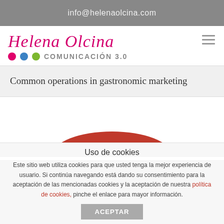info@helenaolcina.com
[Figure (logo): Helena Olcina Comunicación 3.0 logo with script pink text and three colored dots (pink, blue, green)]
Common operations in gastronomic marketing
[Figure (photo): Partial red arc/image visible at bottom of content area, likely top of a food/gastronomic article image]
Uso de cookies
Este sitio web utiliza cookies para que usted tenga la mejor experiencia de usuario. Si continúa navegando está dando su consentimiento para la aceptación de las mencionadas cookies y la aceptación de nuestra política de cookies, pinche el enlace para mayor información.
ACEPTAR